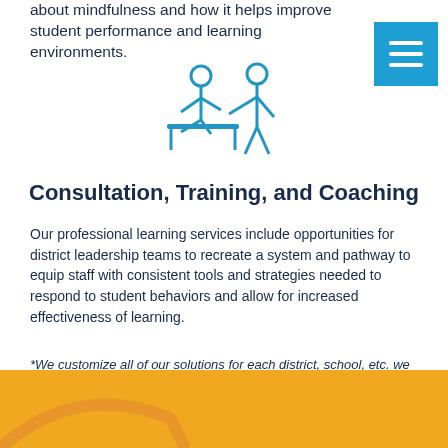about mindfulness and how it helps improve student performance and learning environments.
[Figure (illustration): Blue line icon of a person standing next to a seated person at a desk, representing training or coaching]
Consultation, Training, and Coaching
Our professional learning services include opportunities for district leadership teams to recreate a system and pathway to equip staff with consistent tools and strategies needed to respond to student behaviors and allow for increased effectiveness of learning.
*We customize all of our solutions for each district, school, etc. we work with. Please contact us for more information or assistance.